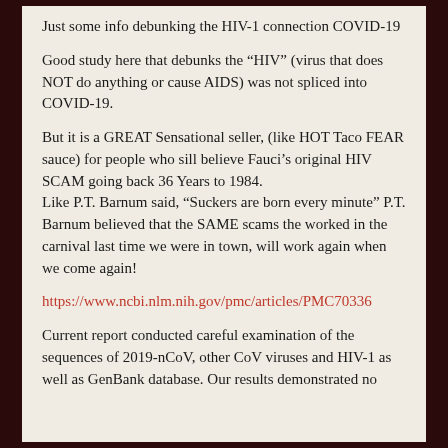Just some info debunking the HIV-1 connection COVID-19
Good study here that debunks the “HIV” (virus that does NOT do anything or cause AIDS) was not spliced into COVID-19.
But it is a GREAT Sensational seller, (like HOT Taco FEAR sauce) for people who sill believe Fauci’s original HIV SCAM going back 36 Years to 1984.
Like P.T. Barnum said, “Suckers are born every minute” P.T. Barnum believed that the SAME scams the worked in the carnival last time we were in town, will work again when we come again!
https://www.ncbi.nlm.nih.gov/pmc/articles/PMC70336
Current report conducted careful examination of the sequences of 2019-nCoV, other CoV viruses and HIV-1 as well as GenBank database. Our results demonstrated no